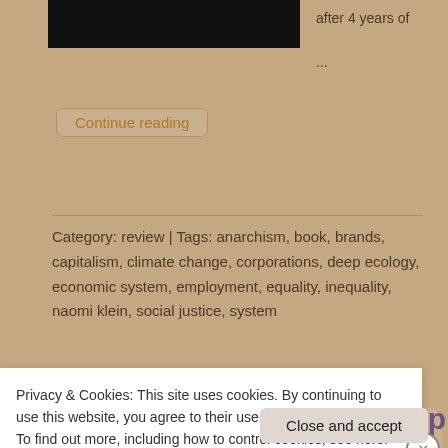[Figure (photo): Black image placeholder in the upper left of a card]
after 4 years of
...
Continue reading
Category: review | Tags: anarchism, book, brands, capitalism, climate change, corporations, deep ecology, economic system, employment, equality, inequality, naomi klein, social justice, system
Privacy & Cookies: This site uses cookies. By continuing to use this website, you agree to their use.
To find out more, including how to control cookies, see here: Cookie Policy
Close and accept